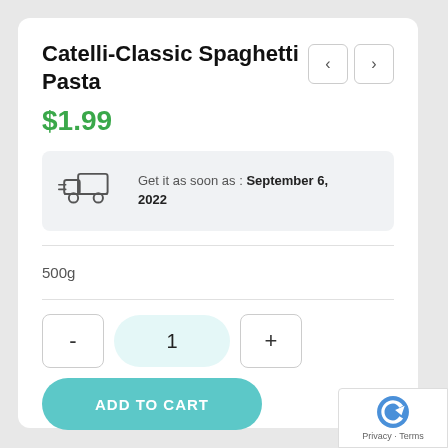Catelli-Classic Spaghetti Pasta
$1.99
Get it as soon as : September 6, 2022
500g
1
ADD TO CART